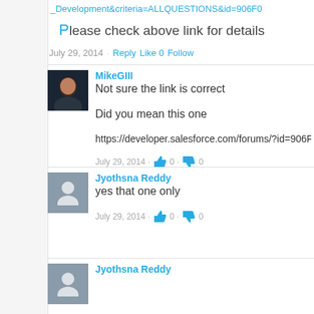_Development&criteria=ALLQUESTIONS&id=906F0
Please check above link for details
July 29, 2014   Reply   Like 0   Follow
MikeGIII
Not sure the link is correct

Did you mean this one

https://developer.salesforce.com/forums/?id=906F

July 29, 2014 · 0 · 0
Jyothsna Reddy
yes that one only

July 29, 2014 · 0 · 0
Jyothsna Reddy